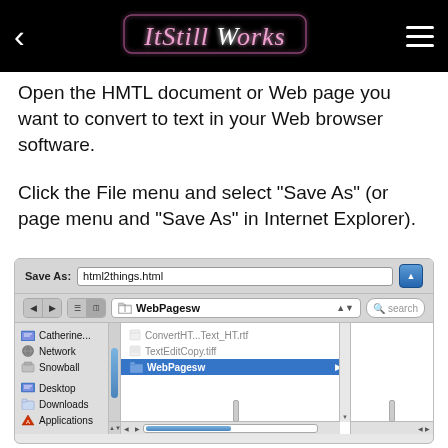ItStillWorks
Open the HMTL document or Web page you want to convert to text in your Web browser software.
Click the File menu and select "Save As" (or page menu and "Save As" in Internet Explorer).
[Figure (screenshot): Mac OS X Save As dialog showing a file browser with WebPagesw folder selected, containing ConvertHT...Text_HT.rtf, TextEditCopy.tiff, and WebPagesw items. The sidebar shows Catherine..., Network, Snowball, Desktop, Downloads, and Applications.]